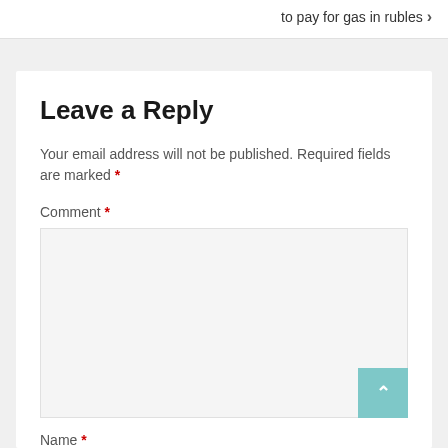to pay for gas in rubles
Leave a Reply
Your email address will not be published. Required fields are marked *
Comment *
Name *